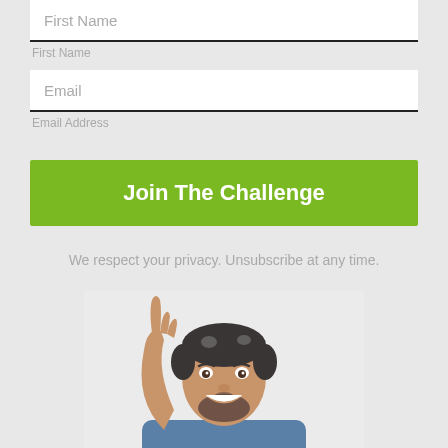First Name
First Name
Email
Email Address
Join The Challenge
We respect your privacy. Unsubscribe at any time.
[Figure (photo): A smiling middle-aged man with short gray-black hair and a beard, wearing a blue denim shirt, pointing upward with his index finger against a white background.]